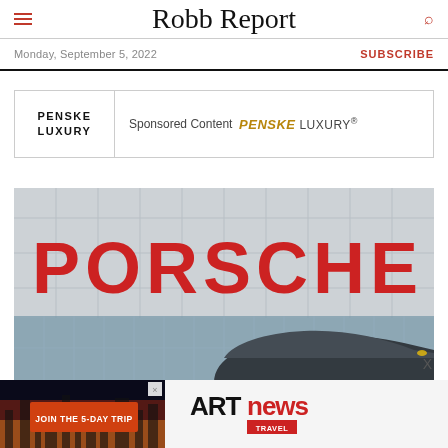Robb Report
Monday, September 5, 2022
SUBSCRIBE
PENSKE LUXURY — Sponsored Content PENSKE LUXURY®
[Figure (photo): Porsche dealership building exterior with large red PORSCHE sign and a dark luxury car parked in front]
[Figure (infographic): ARTnews Travel advertisement banner with 'JOIN THE 5-DAY TRIP' button and cityscape background]